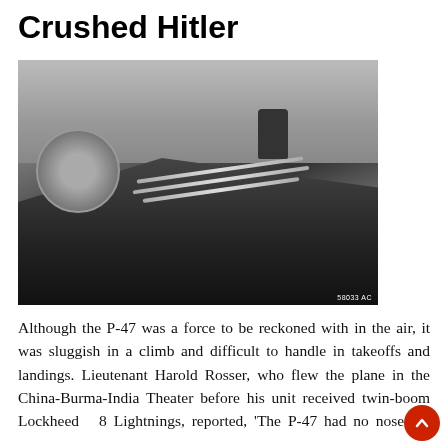Crushed Hitler
[Figure (photo): Black and white photograph of a P-47 fighter aircraft showing the nose art on the fuselage, gun barrels visible, and a pilot or crew member visible in the cockpit area. Photo credit: 58033 AC]
Although the P-47 was a force to be reckoned with in the air, it was sluggish in a climb and difficult to handle in takeoffs and landings. Lieutenant Harold Rosser, who flew the plane in the China-Burma-India Theater before his unit received twin-boom Lockheed P-38 Lightnings, reported, 'The P-47 had no nose wh...